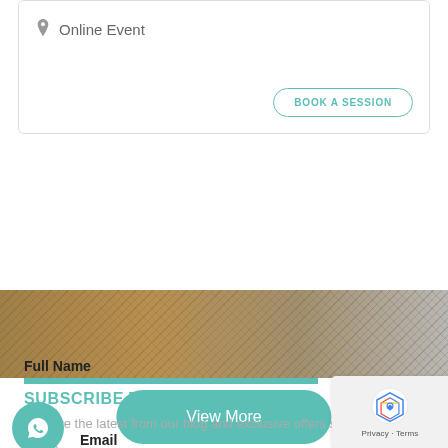Online Event
BOOK A SESSION
View More
[Figure (photo): Textured burlap/woven fabric background banner in brown and grey tones]
SUBSCRIBE TO OUR NEWSLETTER
Receive the latest from our blog and exclusive offers straight to your inbox.
Full Name
Email